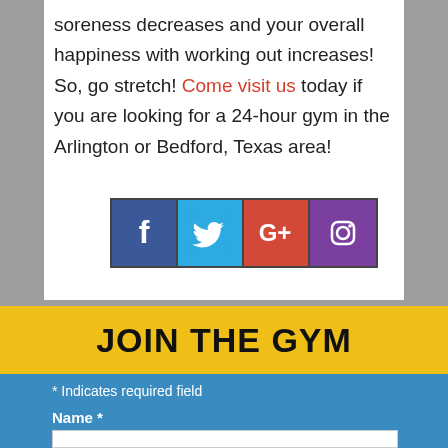soreness decreases and your overall happiness with working out increases! So, go stretch! Come visit us today if you are looking for a 24-hour gym in the Arlington or Bedford, Texas area!
[Figure (illustration): Four social media icons in a row: Facebook (dark blue), Twitter (light blue), Google+ (orange-red), Instagram (purple), each in a bordered square cell.]
JOIN THE GYM
* Indicates required field
Name *